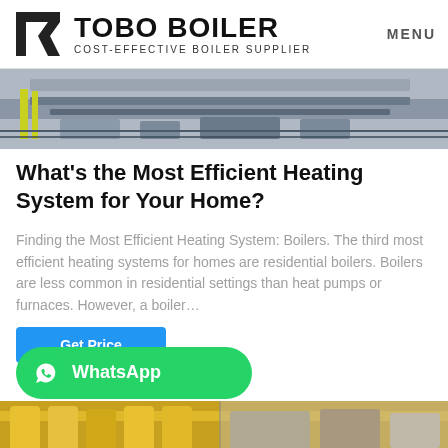TOBO BOILER COST-EFFECTIVE BOILER SUPPLIER | MENU
[Figure (photo): Industrial boiler equipment/machinery photograph, top portion visible, showing dark mechanical components on a light floor]
What's the Most Efficient Heating System for Your Home?
Finding the Most Efficient Heating System: Boilers. The third most efficient heating systems for homes are residential boilers. Boilers are less common in residential settings than heat pumps or furnaces. However, a boiler…
[Figure (screenshot): Get Price button (blue) and WhatsApp button (green) with WhatsApp logo]
[Figure (photo): Industrial piping and equipment photo, bottom of page, showing yellow pipes and industrial components]